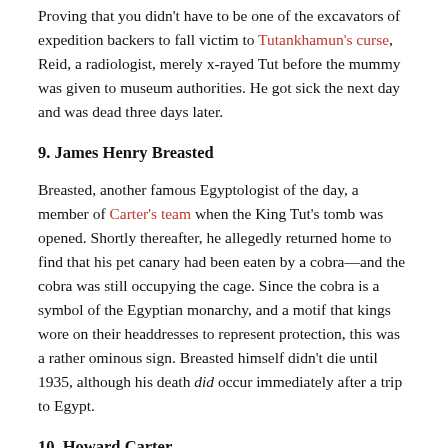Proving that you didn't have to be one of the excavators of expedition backers to fall victim to Tutankhamun's curse, Reid, a radiologist, merely x-rayed Tut before the mummy was given to museum authorities. He got sick the next day and was dead three days later.
9. James Henry Breasted
Breasted, another famous Egyptologist of the day, a member of Carter's team when the King Tut's tomb was opened. Shortly thereafter, he allegedly returned home to find that his pet canary had been eaten by a cobra—and the cobra was still occupying the cage. Since the cobra is a symbol of the Egyptian monarchy, and a motif that kings wore on their headdresses to represent protection, this was a rather ominous sign. Breasted himself didn't die until 1935, although his death did occur immediately after a trip to Egypt.
10. Howard Carter
Carter never had a mysterious, inexplicable illness and his